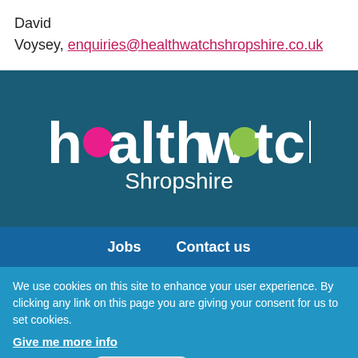David Voysey, enquiries@healthwatchshropshire.co.uk
[Figure (logo): Healthwatch Shropshire logo — white bold text 'healthwatch' with pink circle in 'e' and green circle in 'o', and 'Shropshire' below in white, on dark teal background]
Jobs   Contact us
We use cookies on this site to enhance your user experience. By clicking any link on this page you are giving your consent for us to set cookies. Give me more info
OK, I agree   Decline